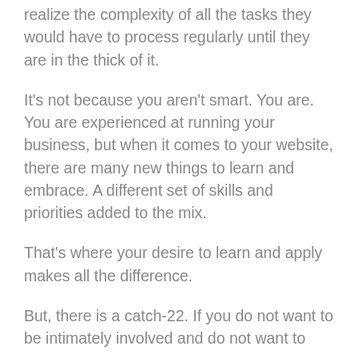realize the complexity of all the tasks they would have to process regularly until they are in the thick of it.
It's not because you aren't smart. You are. You are experienced at running your business, but when it comes to your website, there are many new things to learn and embrace. A different set of skills and priorities added to the mix.
That's where your desire to learn and apply makes all the difference.
But, there is a catch-22. If you do not want to be intimately involved and do not want to